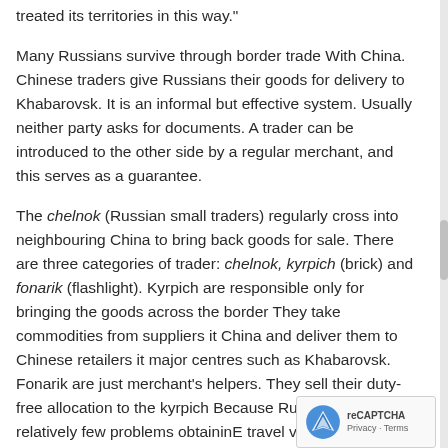treated its territories in this way."
Many Russians survive through border trade With China. Chinese traders give Russians their goods for delivery to Khabarovsk. It is an informal but effective system. Usually neither party asks for documents. A trader can be introduced to the other side by a regular merchant, and this serves as a guarantee.
The chelnok (Russian small traders) regularly cross into neighbouring China to bring back goods for sale. There are three categories of trader: chelnok, kyrpich (brick) and fonarik (flashlight). Kyrpich are responsible only for bringing the goods across the border They take commodities from suppliers it China and deliver them to Chinese retailers it major centres such as Khabarovsk. Fonarik are just merchant's helpers. They sell their duty-free allocation to the kyrpich Because Russians have relatively few problems obtaininE travel visas to Chi the Chinese hire Russian as their transportation agents.